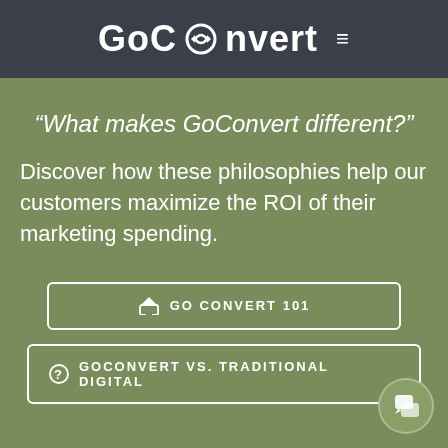GoConvert ☰
“What makes GoConvert different?”
Discover how these philosophies help our customers maximize the ROI of their marketing spending.
GO CONVERT 101
GOCONVERT VS. TRADITIONAL DIGITAL